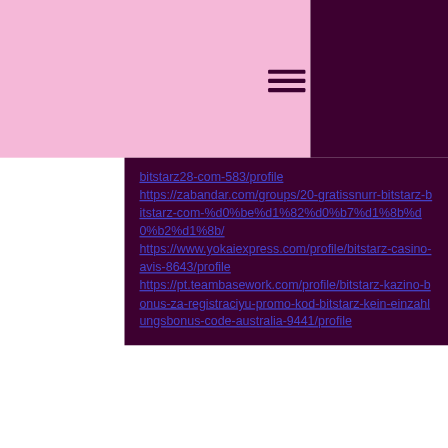bitstarz28-com-583/profile https://zabandar.com/groups/20-gratissnurr-bitstarz-bitstarz-com-%d0%be%d1%82%d0%b7%d1%8b%d0%b2%d1%8b/ https://www.yokaiexpress.com/profile/bitstarz-casino-avis-8643/profile https://pt.teambasework.com/profile/bitstarz-kazino-bonus-za-registraciyu-promo-kod-bitstarz-kein-einzahlungsbonus-code-australia-9441/profile
[Figure (other): Social media icons: Instagram, Twitter, Tumblr, Facebook]
©2021 af Panda's Playground. Stolt oprettet med Wix.com